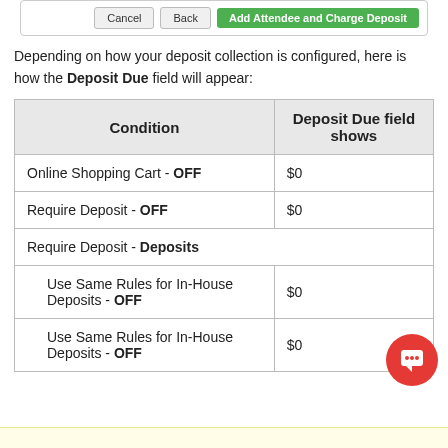[Figure (screenshot): Top bar with Cancel, Back, and Add Attendee and Charge Deposit buttons]
Depending on how your deposit collection is configured, here is how the Deposit Due field will appear:
| Condition | Deposit Due field shows |
| --- | --- |
| Online Shopping Cart - OFF | $0 |
| Require Deposit - OFF | $0 |
| Require Deposit - Deposits |  |
| Use Same Rules for In-House Deposits - OFF | $0 |
| Use Same Rules for In-House Deposits - OFF | $0 |